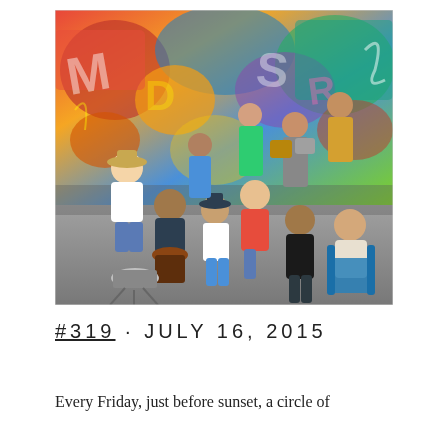[Figure (photo): Outdoor drum circle gathering with multiple people sitting and playing drums, in front of a colorful graffiti-covered wall. People of various ages are seated in a circle on a concrete ground with drums and percussion instruments.]
#319 · JULY 16, 2015
Every Friday, just before sunset, a circle of